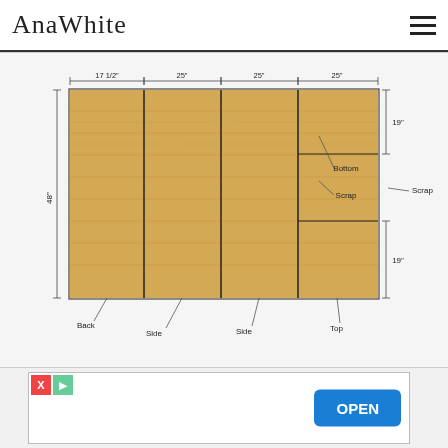AnaWhite
[Figure (engineering-diagram): Plywood cut diagram showing layout of pieces on a 4x8 sheet. Pieces labeled: Back (leftmost, full height), Side (second column), Side (third column), Top (fourth column right side), Bottom (upper right section, 19" height), Scrap (middle right section), with another 19" section at lower right. Dimensions shown: 17 1/2", 25", 25", 25" across top; 48" height on left side; 19" and 19" on right side.]
Back   Side   Side   Top   Bottom   Scrap
[Figure (other): Advertisement bar with X and play icons on left, OPEN button on right]